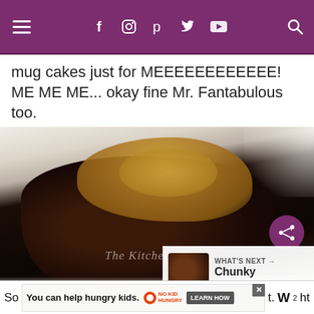Navigation bar with hamburger menu, social icons (Facebook, Instagram, Pinterest, Twitter, YouTube), and search icon
mug cakes just for MEEEEEEEEEEEE! ME ME ME... okay fine Mr. Fantabulous too.
[Figure (photo): Close-up photo of a chocolate mug cake on a spoon, topped with caramel sauce and chocolate, with The Kitchen Magpie watermark]
WHAT'S NEXT → Chunky Portabella...
So... [Ad: You can help hungry kids. NO KID HUNGRY LEARN HOW] ...t. night